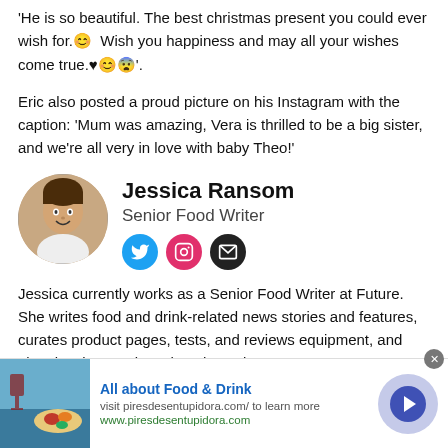'He is so beautiful. The best christmas present you could ever wish for.😊 Wish you happiness and may all your wishes come true.♥😊😨'.
Eric also posted a proud picture on his Instagram with the caption: 'Mum was amazing, Vera is thrilled to be a big sister, and we're all very in love with baby Theo!'
[Figure (photo): Circular profile photo of Jessica Ransom]
Jessica Ransom
Senior Food Writer
Jessica currently works as a Senior Food Writer at Future. She writes food and drink-related news stories and features, curates product pages, tests, and reviews equipment, and also develops recipes that she styles on
[Figure (infographic): Advertisement banner: All about Food & Drink - visit piresdesentupidora.com/ to learn more, www.piresdesentupidora.com, with food image on left and arrow button on right]